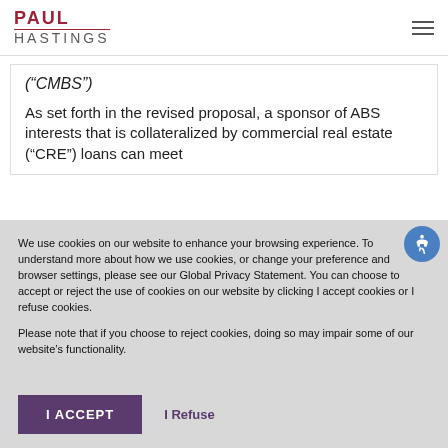PAUL HASTINGS
("CMBS")
As set forth in the revised proposal, a sponsor of ABS interests that is collateralized by commercial real estate ("CRE") loans can meet
We use cookies on our website to enhance your browsing experience. To understand more about how we use cookies, or change your preference and browser settings, please see our Global Privacy Statement. You can choose to accept or reject the use of cookies on our website by clicking I accept cookies or I refuse cookies.

Please note that if you choose to reject cookies, doing so may impair some of our website's functionality.